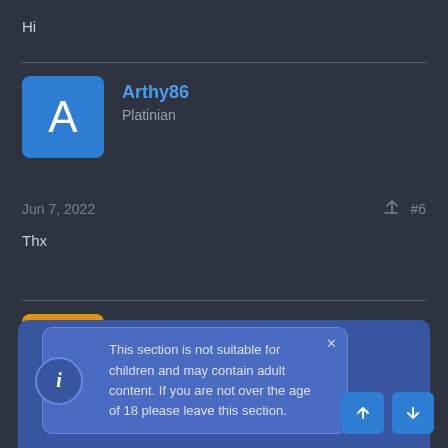Hi
Arthy86
Platinian
Jun 7, 2022  #6
Thx
Ali007king
Platinian
This section is not suitable for children and may contain adult content. If you are not over the age of 18 please leave this section.